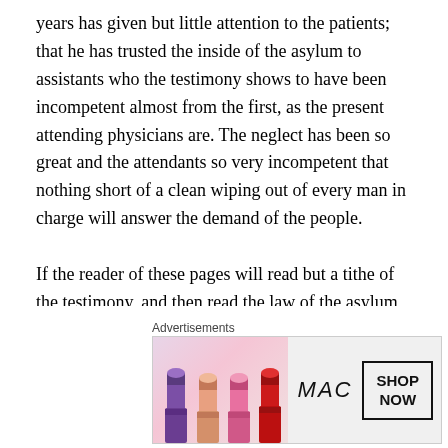years has given but little attention to the patients; that he has trusted the inside of the asylum to assistants who the testimony shows to have been incompetent almost from the first, as the present attending physicians are. The neglect has been so great and the attendants so very incompetent that nothing short of a clean wiping out of every man in charge will answer the demand of the people.

If the reader of these pages will read but a tithe of the testimony, and then read the law of the asylum, he will say, as Boynton said, that if half is true hanging would be too good for every one of them. No man will say that the testimony against the management is not true and
[Figure (illustration): MAC Cosmetics advertisement showing lipsticks in purple, peach, pink, and red colors with MAC logo and 'SHOP NOW' button]